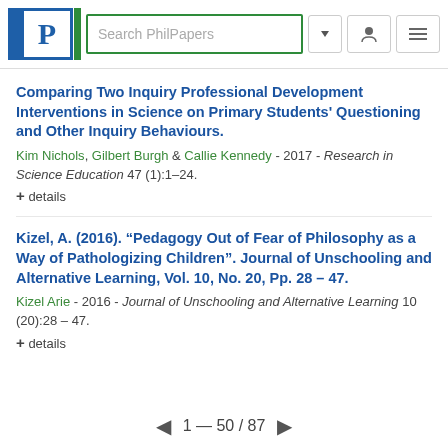Search PhilPapers
Comparing Two Inquiry Professional Development Interventions in Science on Primary Students' Questioning and Other Inquiry Behaviours.
Kim Nichols, Gilbert Burgh & Callie Kennedy - 2017 - Research in Science Education 47 (1):1–24.
+ details
Kizel, A. (2016). “Pedagogy Out of Fear of Philosophy as a Way of Pathologizing Children”. Journal of Unschooling and Alternative Learning, Vol. 10, No. 20, Pp. 28 – 47.
Kizel Arie - 2016 - Journal of Unschooling and Alternative Learning 10 (20):28 – 47.
+ details
1 — 50 / 87